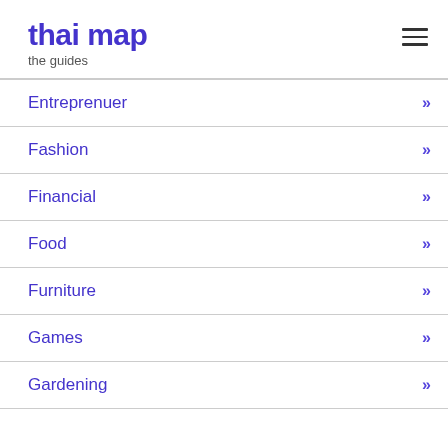thai map — the guides
Entreprenuer »
Fashion »
Financial »
Food »
Furniture »
Games »
Gardening »